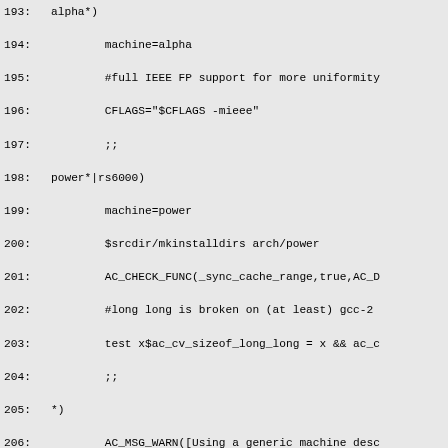193:   alpha*)
194:           machine=alpha
195:           #full IEEE FP support for more uniformity
196:           CFLAGS="$CFLAGS -mieee"
197:           ;;
198:   power*|rs6000)
199:           machine=power
200:           $srcdir/mkinstalldirs arch/power
201:           AC_CHECK_FUNC(_sync_cache_range,true,AC_D
202:           #long long is broken on (at least) gcc-2
203:           test x$ac_cv_sizeof_long_long = x && ac_c
204:           ;;
205:   *)
206:           AC_MSG_WARN([Using a generic machine desc
207:           AC_MSG_WARN([Assuming C floats and double
208:           AC_MSG_WARN([FLUSH-ICACHE will do nothing
209:           machine=generic
210:           #I-cache flushing would be needed for dyn
211:           no_dynamic_default=1
212:           AC_MSG_WARN(Disabling dynamic native code
213:   esac
214:   AC_SUBST(host)
215:
216:   dnl the following macro produces a warning with au
217:   AC_CHECK_SIZEOF(char *)
218:   case "$ac_cv_sizeof_char_p" in
219:     2)
220:       wordsize=16
221:       ;;
222:     4)